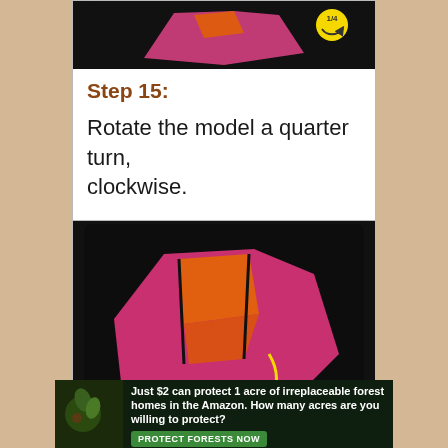[Figure (photo): Origami model on dark background with yellow rotation arrow symbol indicating quarter turn, shown from top]
Step 15:
Rotate the model a quarter turn, clockwise.
[Figure (photo): Pink/magenta origami model on dark background with orange inner section visible and yellow curved arrow indicating folding direction]
Just $2 can protect 1 acre of irreplaceable forest homes in the Amazon. How many acres are you willing to protect?
PROTECT FORESTS NOW